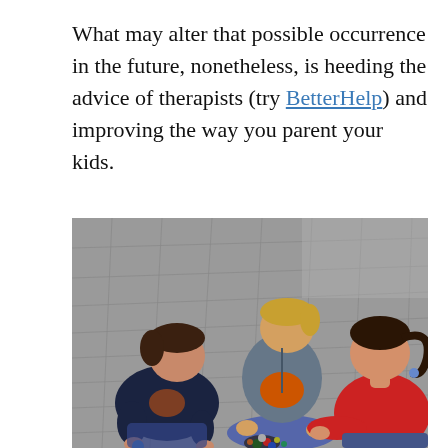What may alter that possible occurrence in the future, nonetheless, is heeding the advice of therapists (try BetterHelp) and improving the way you parent your kids.
[Figure (photo): Three young children sitting on a paved outdoor surface playing with marbles. One child on the left wears a dark navy t-shirt, one in the center wears a grey hoodie over an orange shirt and jeans, and one on the right wears a red shirt with dark hair in a ponytail.]